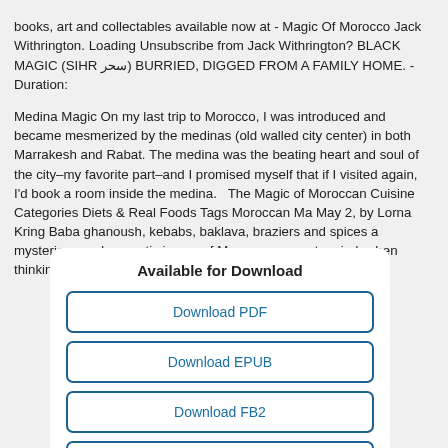books, art and collectables available now at - Magic Of Morocco Jack Withrington. Loading Unsubscribe from Jack Withrington? BLACK MAGIC (SIHR سحر) BURRIED, DIGGED FROM A FAMILY HOME. - Duration:
Medina Magic On my last trip to Morocco, I was introduced and became mesmerized by the medinas (old walled city center) in both Marrakesh and Rabat. The medina was the beating heart and soul of the city–my favorite part–and I promised myself that if I visited again, I'd book a room inside the medina.   The Magic of Moroccan Cuisine Categories Diets & Real Foods Tags Moroccan Ma May 2, by Lorna Kring Baba ghanoush, kebabs, baklava, braziers and spices a mysterious and romantic image of Morocco comes to mind, when thinking of making some of their delectable and well known s:
[Figure (other): A white rounded box titled 'Available for Download' containing four buttons: Download PDF, Download EPUB, Download FB2, Download MOBI, and a partial fifth button at the bottom.]